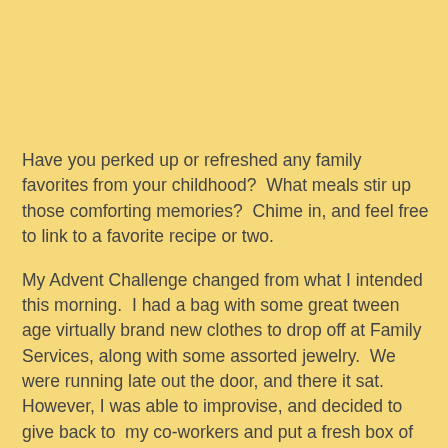Have you perked up or refreshed any family favorites from your childhood?  What meals stir up those comforting memories?  Chime in, and feel free to link to a favorite recipe or two.
My Advent Challenge changed from what I intended this morning.  I had a bag with some great tween age virtually brand new clothes to drop off at Family Services, along with some assorted jewelry.  We were running late out the door, and there it sat.  However, I was able to improvise, and decided to give back to  my co-workers and put a fresh box of cinnamon tea in the break room this afternoon for a little pick me up.  I'll need to refresh my desk drawer supply, but it has been a cold week already.  A new dusting of snow will mean half of everyone in Minnesota will forget how to drive